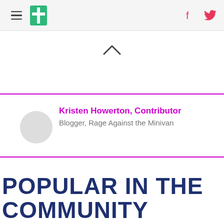HuffPost navigation with hamburger menu, logo, Facebook and Twitter icons
[Figure (other): Upward chevron/caret symbol indicating scroll up]
Kristen Howerton, Contributor
Blogger, Rage Against the Minivan
POPULAR IN THE COMMUNITY